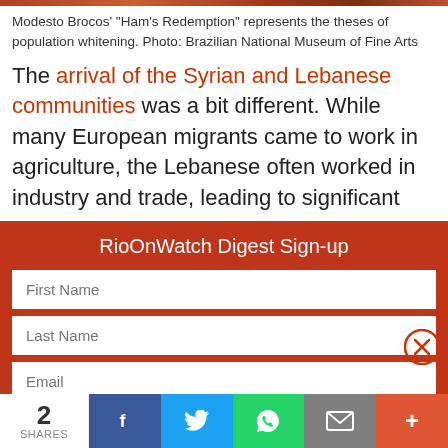Modesto Brocos' “Ham’s Redemption” represents the theses of population whitening. Photo: Brazilian National Museum of Fine Arts
The arrival of the Syrian and Lebanese communities was a bit different. While many European migrants came to work in agriculture, the Lebanese often worked in industry and trade, leading to significant
RioOnWatch Digest Sign-up
First Name
Last Name
Email
Organization
Country
2 SHARES